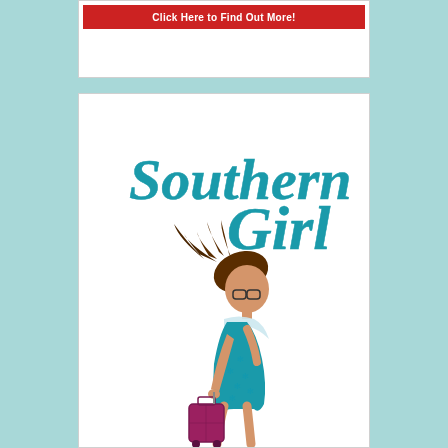[Figure (other): Red button with white text: Click Here to Find Out More!]
[Figure (illustration): Southern Girl logo with stylized cursive teal text reading 'Southern Girl' and an illustration of a stylish young woman with dark hair blowing in the wind, wearing glasses, a teal blue snowflake-patterned dress, and a light blue scarf, pulling a purple/magenta rolling suitcase.]